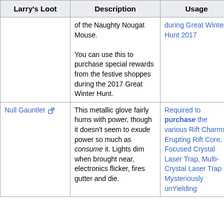| Larry's Loot | Description | Usage | Source | Imag |
| --- | --- | --- | --- | --- |
|  | of the Naughty Nougat Mouse.
You can use this to purchase special rewards from the festive shoppes during the 2017 Great Winter Hunt. | during Great Winter Hunt 2017 |  |  |
| Null Gauntlet | This metallic glove fairly hums with power, though it doesn't seem to exude power so much as consume it. Lights dim when brought near, electronics flicker, fires gutter and die. | Required to purchase the various Rift Charms, Erupting Rift Core, Focused Crystal Laser Trap, Multi-Crystal Laser Trap Mysteriously unYielding | Menace of the Rift in Burroughs Rift | Imag |